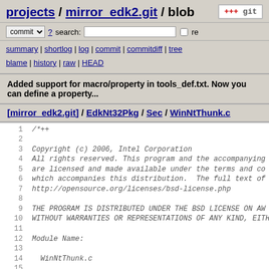projects / mirror_edk2.git / blob
commit ? search: re
summary | shortlog | log | commit | commitdiff | tree blame | history | raw | HEAD
Added support for macro/property in tools_def.txt. Now you can define a property...
[mirror_edk2.git] / EdkNtThunk.c / Sec / WinNtThunk.c
[Figure (screenshot): Source code viewer showing WinNtThunk.c file lines 1-18 with C source code including copyright header]